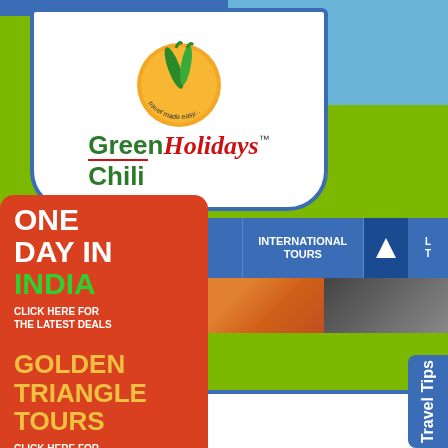[Figure (logo): Green Chili Holidays logo with green chili pepper and orange sun graphic, tagline 'travel made easy...' and company name in green and red italic script]
COMPANY PROFILE
INDIA TOURS
INTERNATIONAL TOURS
[Figure (infographic): Red promotional box: ONE DAY IN INDIA - CLICK HERE FOR THE LATEST DEALS]
[Figure (photo): Photo strip showing colorful Indian scenes]
[Figure (infographic): Red promotional box: GOLDEN TRIANGLE TOURS - CLICK HERE FOR THE LATEST DEALS]
[Figure (infographic): Blue vertical tab on right side: Travel Tips]